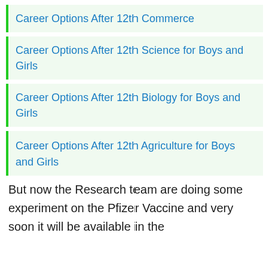Career Options After 12th Commerce
Career Options After 12th Science for Boys and Girls
Career Options After 12th Biology for Boys and Girls
Career Options After 12th Agriculture for Boys and Girls
But now the Research team are doing some experiment on the Pfizer Vaccine and very soon it will be available in the